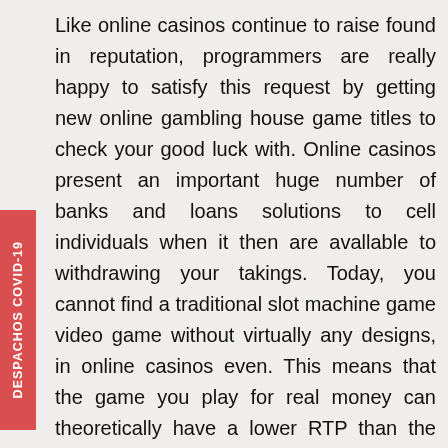Like online casinos continue to raise found in reputation, programmers are really happy to satisfy this request by getting new online gambling house game titles to check your good luck with. Online casinos present an important huge number of banks and loans solutions to cell individuals when it then are avallable to withdrawing your takings. Today, you cannot find a traditional slot machine game video game without virtually any designs, in online casinos even. This means that the game you play for real money can theoretically have a lower RTP than the free version.
It's a fabulous simple fact that expensive gaming system game titles normally are not really that